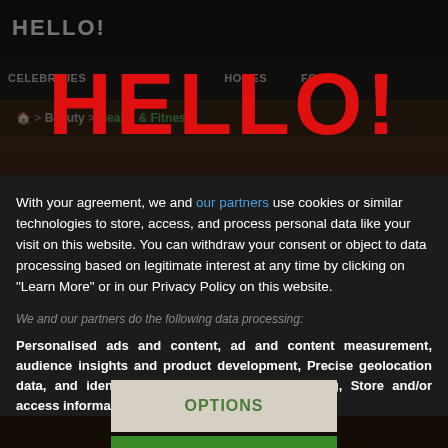[Figure (screenshot): Hello! magazine website screenshot showing navigation bar with HELLO! logo, nav items (CELEBRITIES, HOMES, FOOD), and breadcrumb navigation showing Beauty > Health & Fitness]
[Figure (logo): Large red HELLO! magazine logo overlaid on the page]
With your agreement, we and our partners use cookies or similar technologies to store, access, and process personal data like your visit on this website. You can withdraw your consent or object to data processing based on legitimate interest at any time by clicking on "Learn More" or in our Privacy Policy on this website.
We and our partners do the following data processing:
Personalised ads and content, ad and content measurement, audience insights and product development, Precise geolocation data, and identification through device scanning, Store and/or access information on a device
OPTIONS
I AGREE